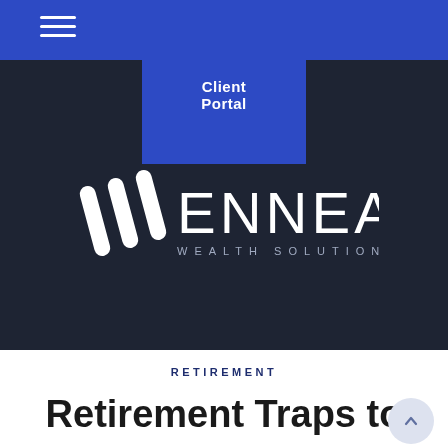[Figure (logo): Client Portal navigation button with blue background overlaying dark hero section]
[Figure (logo): Mennea Wealth Solutions logo — stylized M icon followed by ENNEA lettering in white with WEALTH SOLUTIONS subtitle — on dark background]
RETIREMENT
Retirement Traps to